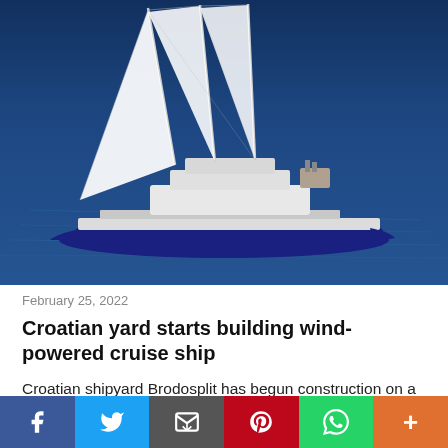[Figure (photo): Aerial view of a large three-masted sailing cruise ship with white sails on deep blue water, shot from above. The vessel has a dark blue hull and white superstructure.]
February 25, 2022
Croatian yard starts building wind-powered cruise ship
Croatian shipyard Brodosplit has begun construction on a new three-masted cruise sailship. Once completed, the vessel will be 63.5 metres long and 10 metres wide, with a
[Figure (other): Social sharing bar with buttons for Facebook, Twitter, Email, Pinterest, WhatsApp, and More]